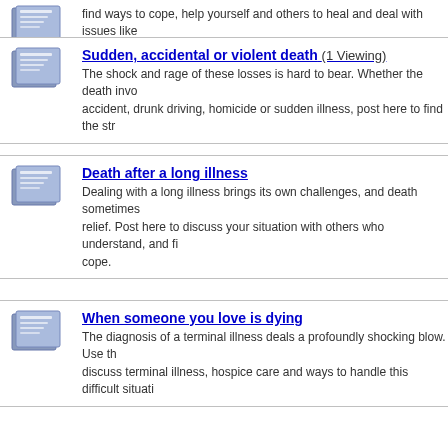find ways to cope, help yourself and others to heal and deal with issues like...
Sudden, accidental or violent death (1 Viewing) - The shock and rage of these losses is hard to bear. Whether the death involved an accident, drunk driving, homicide or sudden illness, post here to find the str...
Death after a long illness - Dealing with a long illness brings its own challenges, and death sometimes comes as a relief. Post here to discuss your situation with others who understand, and fi... cope.
When someone you love is dying - The diagnosis of a terminal illness deals a profoundly shocking blow. Use th... discuss terminal illness, hospice care and ways to handle this difficult situati...
Forum Contains New Posts
Forum Contains No New Posts
Forum is Closed for Posting
All times are GMT -5. The time...
Copyright 2017 The Light Beyond. Visit the main site at www.thelightbeyond.com